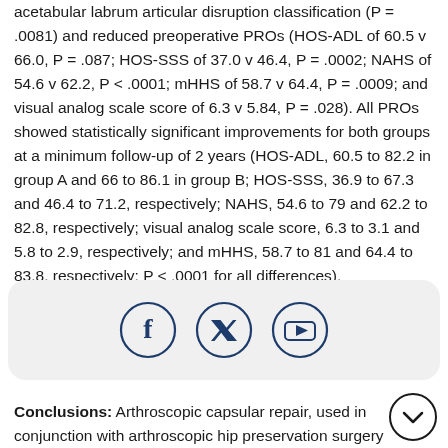acetabular labrum articular disruption classification (P = .0081) and reduced preoperative PROs (HOS-ADL of 60.5 v 66.0, P = .087; HOS-SSS of 37.0 v 46.4, P = .0002; NAHS of 54.6 v 62.2, P < .0001; mHHS of 58.7 v 64.4, P = .0009; and visual analog scale score of 6.3 v 5.84, P = .028). All PROs showed statistically significant improvements for both groups at a minimum follow-up of 2 years (HOS-ADL, 60.5 to 82.2 in group A and 66 to 86.1 in group B; HOS-SSS, 36.9 to 67.3 and 46.4 to 71.2, respectively; NAHS, 54.6 to 79 and 62.2 to 82.8, respectively; visual analog scale score, 6.3 to 3.1 and 5.8 to 2.9, respectively; and mHHS, 58.7 to 81 and 64.4 to 83.8, respectively; P < .0001 for all differences). Furthermore, group B showed greater overall improvements than group A for the HOS-ADL (P = .03) and NAHS (P = .03)
[Figure (infographic): Social media share bar with Facebook, Twitter/X, and YouTube icons inside circular buttons on a light grey rounded rectangle background]
Conclusions: Arthroscopic capsular repair, used in conjunction with arthroscopic hip preservation surgery